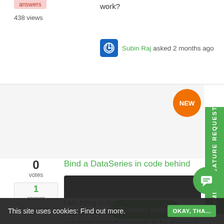answers
438 views
work?
Subin Raj asked 2 months ago
0
votes
1
answer
318 views
Bind a DataSeries in code behind
WPF  Binding  code behind
Hi,
I am trying to create a new FastUniformHeatMap at runtime and bind it a dataset, everything needs to be done in the code behind and I am not using MVVM.
I can create the HeatMap in with:
[Figure (screenshot): Dark code block at the bottom]
This site uses cookies: Find out more.
OKAY, THA...